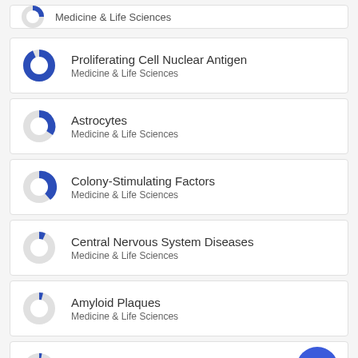Medicine & Life Sciences (partial top)
Proliferating Cell Nuclear Antigen — Medicine & Life Sciences
Astrocytes — Medicine & Life Sciences
Colony-Stimulating Factors — Medicine & Life Sciences
Central Nervous System Diseases — Medicine & Life Sciences
Amyloid Plaques — Medicine & Life Sciences
Multiple Sclerosis — Medicine & Life Sciences
Cell Differentiation (partial bottom)